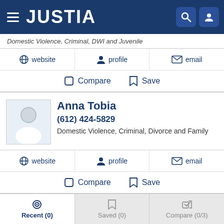JUSTIA
Domestic Violence, Criminal, DWI and Juvenile
website | profile | email
Compare | Save
Anna Tobia
(612) 424-5829
Domestic Violence, Criminal, Divorce and Family
website | profile | email
Compare | Save
Andrew Poole
Recent (0) | Saved (0) | Compare (0/3)